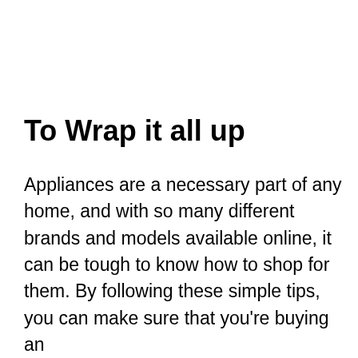To Wrap it all up
Appliances are a necessary part of any home, and with so many different brands and models available online, it can be tough to know how to shop for them. By following these simple tips, you can make sure that you're buying an appliance that will suit your needs and last for